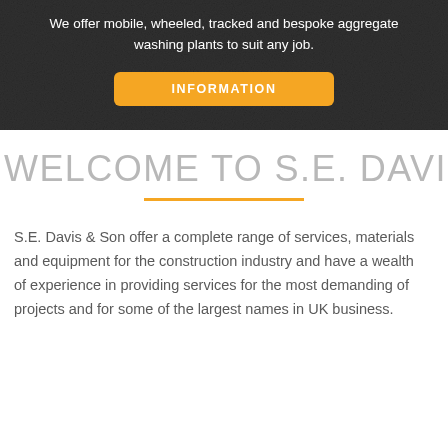[Figure (photo): Dark aggregate material texture background with white text and a yellow button labeled INFORMATION]
We offer mobile, wheeled, tracked and bespoke aggregate washing plants to suit any job.
INFORMATION
WELCOME TO S.E. DAVIS & SON
S.E. Davis & Son offer a complete range of services, materials and equipment for the construction industry and have a wealth of experience in providing services for the most demanding of projects and for some of the largest names in UK business.